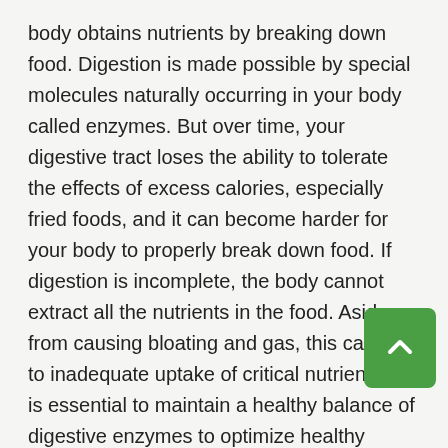body obtains nutrients by breaking down food. Digestion is made possible by special molecules naturally occurring in your body called enzymes. But over time, your digestive tract loses the ability to tolerate the effects of excess calories, especially fried foods, and it can become harder for your body to properly break down food. If digestion is incomplete, the body cannot extract all the nutrients in the food. Aside from causing bloating and gas, this can lead to inadequate uptake of critical nutrients. It is essential to maintain a healthy balance of digestive enzymes to optimize healthy digestion and get the most nutrition out of your meals. Since proteins, plant fibers, carbohydrates and fats are all broken down differently, you need a wide spectrum of enzymes for